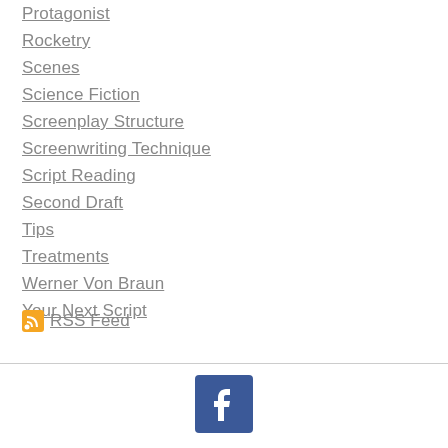Protagonist
Rocketry
Scenes
Science Fiction
Screenplay Structure
Screenwriting Technique
Script Reading
Second Draft
Tips
Treatments
Werner Von Braun
Your Next Script
RSS Feed
[Figure (logo): Facebook logo icon — blue square with white letter f]